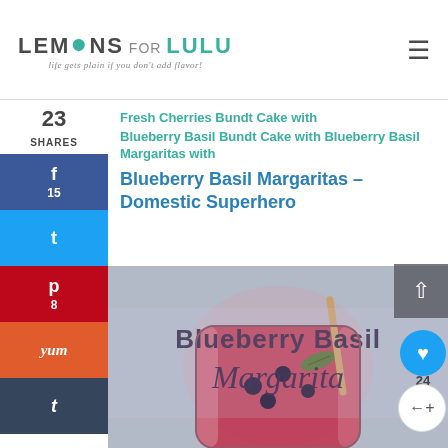LEMONS FOR LULU — life gets plain if you don't add flavor!
23 SHARES
15 (Facebook)
(Twitter)
8 (Pinterest)
yum
t (Tumblr)
Fresh Cherries Bundt Cake with
Blueberry Basil Margaritas – Domestic Superhero
[Figure (photo): A pitcher of blueberry basil margarita, a deep pink/red drink with blueberries and basil leaves, with a wooden stirrer, on a grey countertop. Overlay text reads 'Blueberry Basil Margarita' in decorative fonts.]